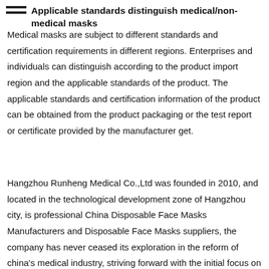Applicable standards distinguish medical/non-medical masks
Medical masks are subject to different standards and certification requirements in different regions. Enterprises and individuals can distinguish according to the product import region and the applicable standards of the product. The applicable standards and certification information of the product can be obtained from the product packaging or the test report or certificate provided by the manufacturer get.
Hangzhou Runheng Medical Co.,Ltd was founded in 2010, and located in the technological development zone of Hangzhou city, is professional China Disposable Face Masks Manufacturers and Disposable Face Masks suppliers, the company has never ceased its exploration in the reform of china's medical industry, striving forward with the initial focus on the medical